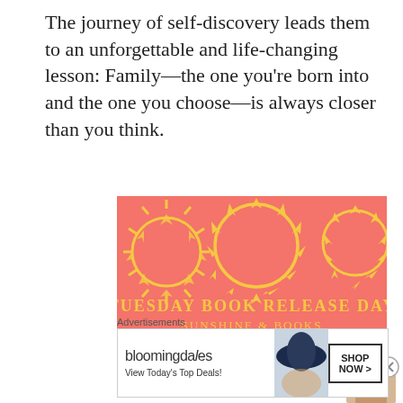The journey of self-discovery leads them to an unforgettable and life-changing lesson: Family—the one you're born into and the one you choose—is always closer than you think.
[Figure (illustration): Coral/salmon colored banner with yellow sun illustrations and text reading 'TUESDAY BOOK RELEASE DAY' and 'SUNSHINE & BOOKS']
Advertisements
[Figure (logo): Parse.ly logo with green leaf icon]
Advertisements
[Figure (screenshot): Bloomingdale's advertisement banner: 'View Today's Top Deals!' with SHOP NOW button and woman in hat photo]